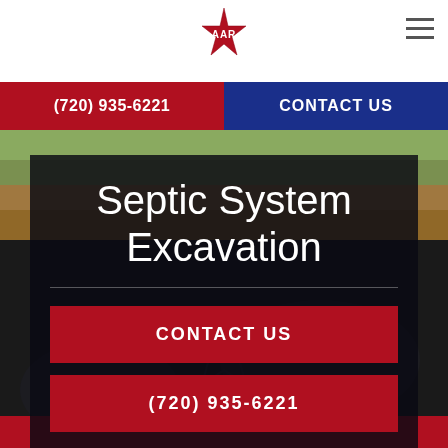[Figure (logo): AAR company logo with red star and stylized letters AAR]
(720) 935-6221 | CONTACT US
[Figure (photo): Excavation site photo showing exposed earth and septic system components]
Septic System Excavation
CONTACT US
(720) 935-6221